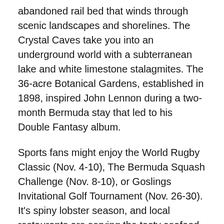abandoned rail bed that winds through scenic landscapes and shorelines. The Crystal Caves take you into an underground world with a subterranean lake and white limestone stalagmites. The 36-acre Botanical Gardens, established in 1898, inspired John Lennon during a two-month Bermuda stay that led to his Double Fantasy album.
Sports fans might enjoy the World Rugby Classic (Nov. 4-10), The Bermuda Squash Challenge (Nov. 8-10), or Goslings Invitational Golf Tournament (Nov. 26-30). It's spiny lobster season, and local restaurants are serving the tasty seafood in chowder, tacos, sauces, and for purists, the tail meat broiled with butter. Coco Reef Resort is offering a Thanksgiving weekend package that includes daily breakfast, holiday dinner, taxes and fees, starting at $397 per night. Although it's near the U. S. — about 650 miles off the coast of Cape Hatteras — Bermuda is a British territory, so a valid